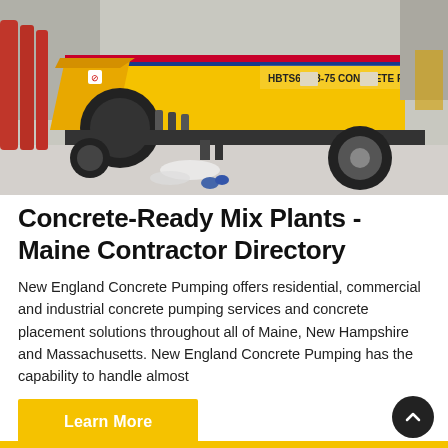[Figure (photo): Yellow HBTS60-13-75 concrete pump truck on a paved surface outdoors, side view showing hopper, chassis, and wheel]
Concrete-Ready Mix Plants - Maine Contractor Directory
New England Concrete Pumping offers residential, commercial and industrial concrete pumping services and concrete placement solutions throughout all of Maine, New Hampshire and Massachusetts. New England Concrete Pumping has the capability to handle almost
Learn More